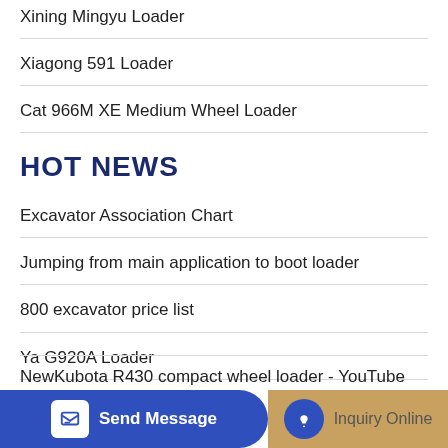Xining Mingyu Loader
Xiagong 591 Loader
Cat 966M XE Medium Wheel Loader
HOT NEWS
Excavator Association Chart
Jumping from main application to boot loader
800 excavator price list
Ya G920A Loader
Excavator water tank enlarged
NewKubota R430 compact wheel loader - YouTube